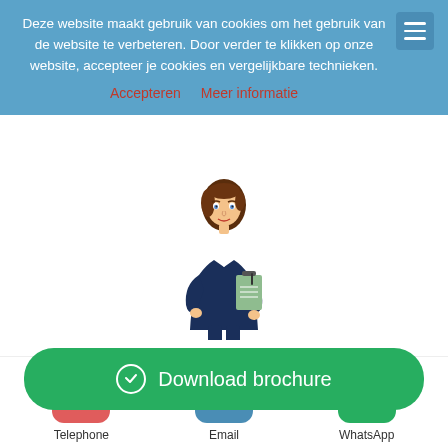Deze website maakt gebruik van cookies om het gebruik van de website te verbeteren. Door verder te klikken op onze website, accepteer je cookies en vergelijkbare technieken.
Accepteren   Meer informatie
[Figure (illustration): Cartoon illustration of a woman in a dark blue suit holding a clipboard, with brown curly hair.]
Script & Story
T... o.
Du... me
Download brochure
Telephone
Email
WhatsApp